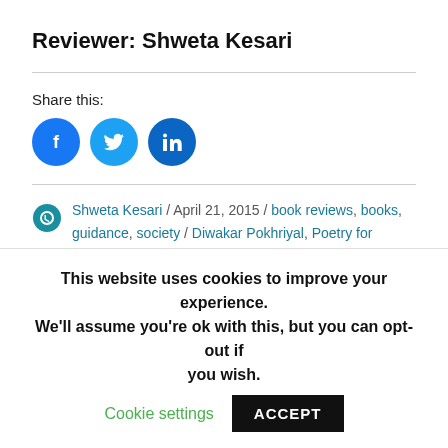Reviewer: Shweta Kesari
Share this:
[Figure (infographic): Three social sharing icons: Facebook (blue circle with f), Twitter (blue circle with bird), LinkedIn (blue circle with in)]
Shweta Kesari / April 21, 2015 / book reviews, books, guidance, society / Diwakar Pokhriyal, Poetry for Everyone, Review, Shweta Kesari / Leave a comment
This website uses cookies to improve your experience. We'll assume you're ok with this, but you can opt-out if you wish. Cookie settings ACCEPT